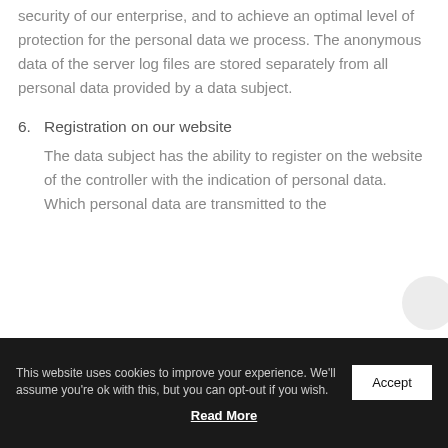security of our enterprise, and to achieve an optimal level of protection for the personal data we process. The anonymous data of the server log files are stored separately from all personal data provided by a data subject.
6. Registration on our website
The data subject has the ability to register on the website of the controller with the indication of personal data. Which personal data are transmitted to the
This website uses cookies to improve your experience. We'll assume you're ok with this, but you can opt-out if you wish.
Read More